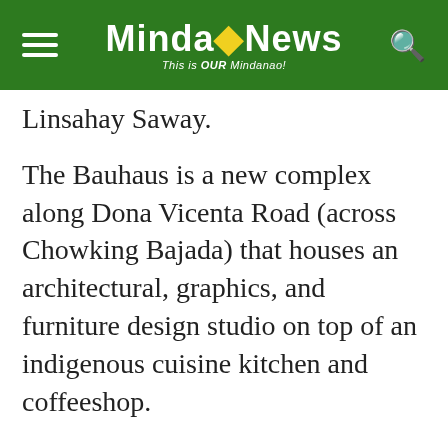MindaNews — This is OUR Mindanao!
Linsahay Saway.
The Bauhaus is a new complex along Dona Vicenta Road (across Chowking Bajada) that houses an architectural, graphics, and furniture design studio on top of an indigenous cuisine kitchen and coffeeshop.